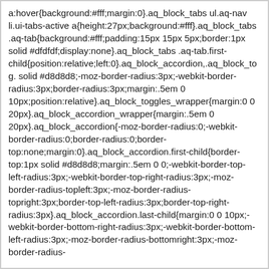a:hover{background:#fff;margin:0}.aq_block_tabs ul.aq-nav li.ui-tabs-active a{height:27px;background:#fff}.aq_block_tabs .aq-tab{background:#fff;padding:15px 15px 5px;border:1px solid #dfdfdf;display:none}.aq_block_tabs .aq-tab.first-child{position:relative;left:0}.aq_block_accordion,.aq_block_tog. solid #d8d8d8;-moz-border-radius:3px;-webkit-border-radius:3px;border-radius:3px;margin:.5em 0 10px;position:relative}.aq_block_toggles_wrapper{margin:0 0 20px}.aq_block_accordion_wrapper{margin:.5em 0 20px}.aq_block_accordion{-moz-border-radius:0;-webkit-border-radius:0;border-radius:0;border-top:none;margin:0}.aq_block_accordion.first-child{border-top:1px solid #d8d8d8;margin:.5em 0 0;-webkit-border-top-left-radius:3px;-webkit-border-top-right-radius:3px;-moz-border-radius-topleft:3px;-moz-border-radius-topright:3px;border-top-left-radius:3px;border-top-right-radius:3px}.aq_block_accordion.last-child{margin:0 0 10px;-webkit-border-bottom-right-radius:3px;-webkit-border-bottom-left-radius:3px;-moz-border-radius-bottomright:3px;-moz-border-radius-